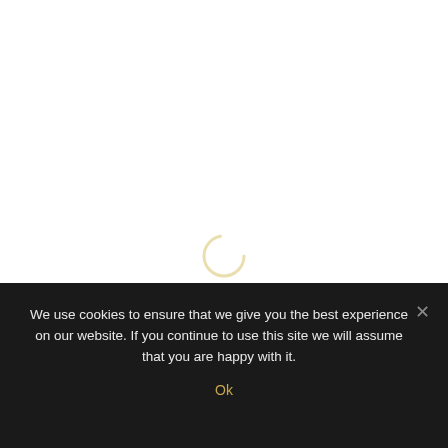[Figure (other): Loading spinner — a partial circle arc in light golden/cream color centered in the upper white area of the page]
We use cookies to ensure that we give you the best experience on our website. If you continue to use this site we will assume that you are happy with it.
Ok